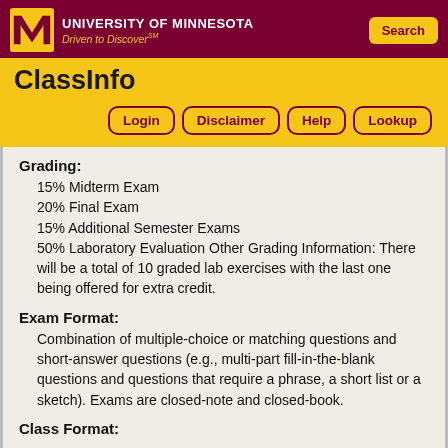University of Minnesota — Driven to Discover℠ — Search
ClassInfo
Login | Disclaimer | Help | Lookup
Grading:
15% Midterm Exam
20% Final Exam
15% Additional Semester Exams
50% Laboratory Evaluation Other Grading Information: There will be a total of 10 graded lab exercises with the last one being offered for extra credit.
Exam Format:
Combination of multiple-choice or matching questions and short-answer questions (e.g., multi-part fill-in-the-blank questions and questions that require a phrase, a short list or a sketch). Exams are closed-note and closed-book.
Class Format: